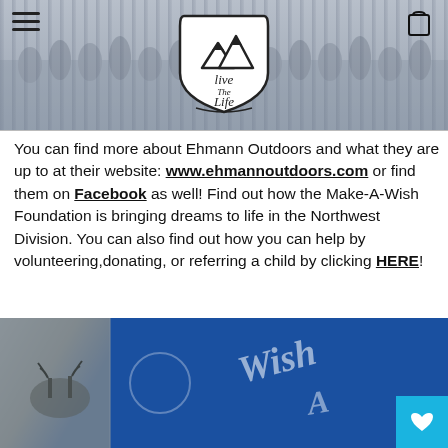[Figure (photo): Header banner with crowd photo in background, hamburger menu icon top-left, shopping cart icon top-right, and a mountain/shield logo in center reading 'Live The Life']
You can find more about Ehmann Outdoors and what they are up to at their website: www.ehmannoutdoors.com or find them on Facebook as well! Find out how the Make-A-Wish Foundation is bringing dreams to life in the Northwest Division. You can also find out how you can help by volunteering,donating, or referring a child by clicking HERE!
[Figure (photo): Close-up photo of blue Make-A-Wish branded material/bag with white logo text, and a hunting/outdoor scene visible on the left side]